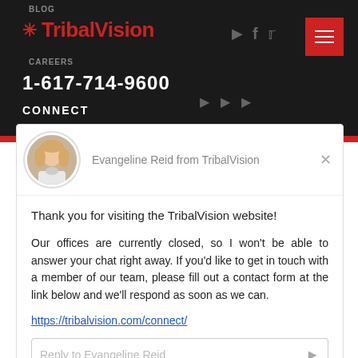BLOG
TribalVision
CAREERS
1-617-714-9600
CONNECT
Evangeline Reid from TribalVision
Thank you for visiting the TribalVision website!
Our offices are currently closed, so I won't be able to answer your chat right away. If you'd like to get in touch with a member of our team, please fill out a contact form at the link below and we'll respond as soon as we can.
https://tribalvision.com/connect/
Reply to Evangeline Reid
Chat ⚡ by Drift